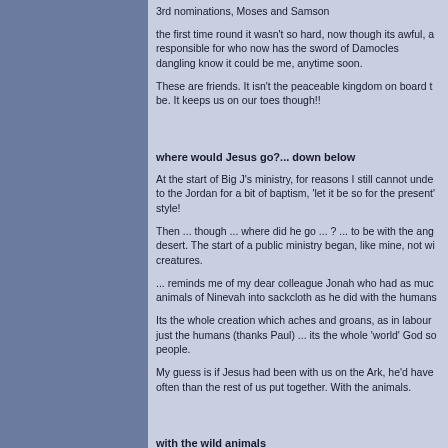3rd nominations, Moses and Samson
the first time round it wasn't so hard, now though its awful, a responsible for who now has the sword of Damocles dangling know it could be me, anytime soon.
These are friends. It isn't the peaceable kingdom on board t be. It keeps us on our toes though!!
where would Jesus go?... down below
At the start of Big J's ministry, for reasons I still cannot unde to the Jordan for a bit of baptism, 'let it be so for the present style!
Then ... though ... where did he go ... ? ... to be with the ang desert. The start of a public ministry began, like mine, not wi creatures.
... reminds me of my dear colleague Jonah who had as muc animals of Ninevah into sackcloth as he did with the humans
Its the whole creation which aches and groans, as in labour just the humans (thanks Paul) ... its the whole 'world' God so people.
My guess is if Jesus had been with us on the Ark, he'd have often than the rest of us put together. With the animals.
with the wild animals
... I've felt very caged up on this ark